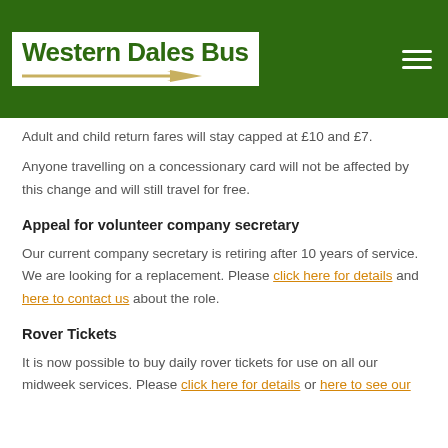[Figure (logo): Western Dales Bus logo with green text on white background and gold arrow, set in green header bar with hamburger menu icon]
Adult and child return fares will stay capped at £10 and £7.
Anyone travelling on a concessionary card will not be affected by this change and will still travel for free.
Appeal for volunteer company secretary
Our current company secretary is retiring after 10 years of service. We are looking for a replacement. Please click here for details and here to contact us about the role.
Rover Tickets
It is now possible to buy daily rover tickets for use on all our midweek services. Please click here for details or here to see our